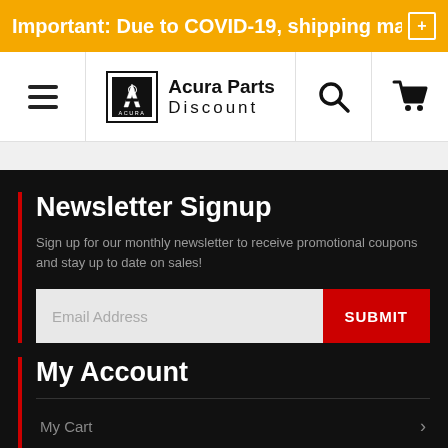Important: Due to COVID-19, shipping may +
[Figure (logo): Acura Parts Discount logo with hamburger menu, search icon, and cart icon in navigation bar]
Newsletter Signup
Sign up for our monthly newsletter to receive promotional coupons and stay up to date on sales!
Email Address  SUBMIT
My Account
My Cart
Sign In